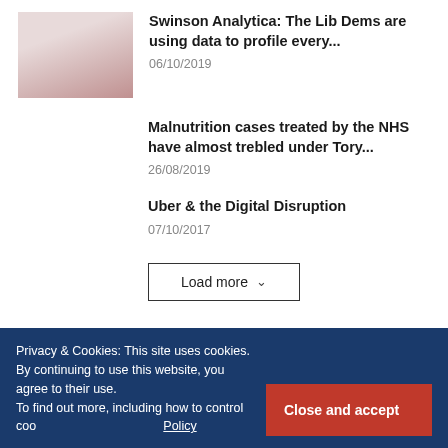[Figure (photo): Thumbnail image of a person, muted red/grey tones]
Swinson Analytica: The Lib Dems are using data to profile every...
06/10/2019
Malnutrition cases treated by the NHS have almost trebled under Tory...
26/08/2019
Uber & the Digital Disruption
07/10/2017
Load more
Privacy & Cookies: This site uses cookies. By continuing to use this website, you agree to their use.
To find out more, including how to control cookies, see here: Cookie Policy
Close and accept